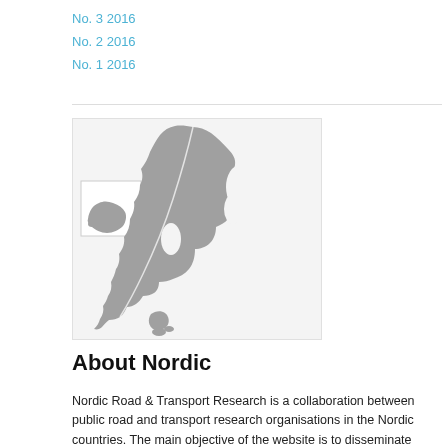No. 3 2016
No. 2 2016
No. 1 2016
[Figure (map): Grayscale map of the Nordic countries including Iceland, Norway, Sweden, Denmark, and Finland shown in grey silhouette on a light grey background.]
About Nordic
Nordic Road & Transport Research is a collaboration between public road and transport research organisations in the Nordic countries. The main objective of the website is to disseminate research results and news from the institutions,